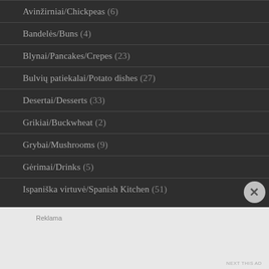Avinžirniai/Chickpeas (6)
Bandelės/Buns (4)
Blynai/Pancakes/Crepes (23)
Bulvių patiekalai/Potato dishes (27)
Desertai/Desserts (33)
Grikiai/Buckwheat (2)
Grybai/Mushrooms (9)
Gėrimai/Drinks (5)
Ispaniška virtuvė/Spanish Kitchen (51)
Reklama